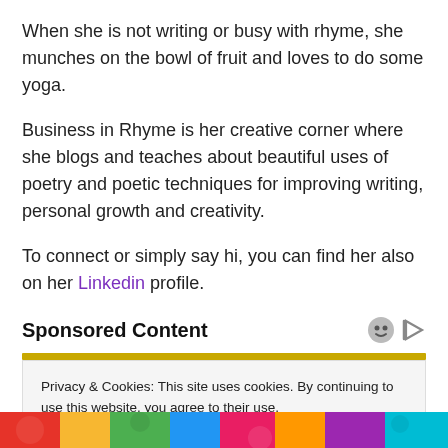When she is not writing or busy with rhyme, she munches on the bowl of fruit and loves to do some yoga.
Business in Rhyme is her creative corner where she blogs and teaches about beautiful uses of poetry and poetic techniques for improving writing, personal growth and creativity.
To connect or simply say hi, you can find her also on her Linkedin profile.
Sponsored Content
Privacy & Cookies: This site uses cookies. By continuing to use this website, you agree to their use.
To find out more, including how to control cookies, see here: Cookie Policy
[Figure (photo): Colorful illustrated strip at the bottom of the page]